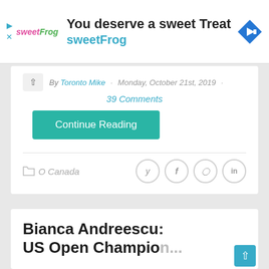[Figure (infographic): SweetFrog advertisement banner with logo, tagline 'You deserve a sweet Treat', 'sweetFrog' subtitle, and a blue diamond navigation arrow icon]
By Toronto Mike · Monday, October 21st, 2019 · 39 Comments
Continue Reading
O Canada
Bianca Andreescu: US Open Champio...